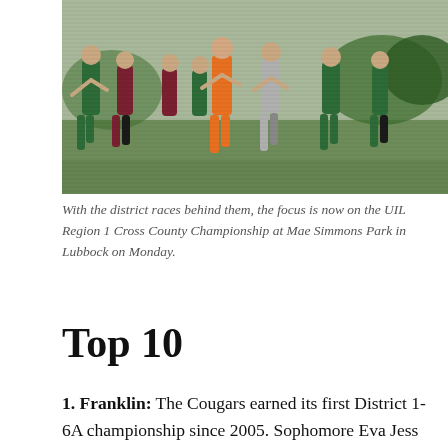[Figure (photo): Group of cross country runners competing in a race, running through a grassy field. Runners wearing green, maroon, orange, and white uniforms.]
With the district races behind them, the focus is now on the UIL Region 1 Cross County Championship at Mae Simmons Park in Lubbock on Monday.
Top 10
1. Franklin: The Cougars earned its first District 1-6A championship since 2005. Sophomore Eva Jess defended her individual title winning in 18:39.37. The Cougars had four runners in the